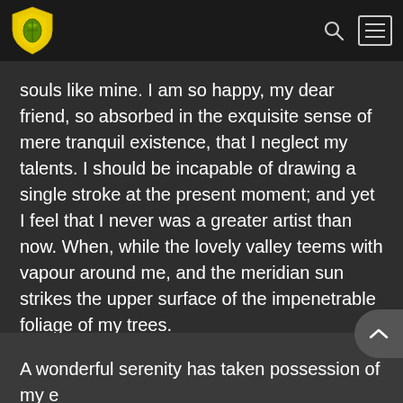Navigation bar with logo, search and menu icons
souls like mine. I am so happy, my dear friend, so absorbed in the exquisite sense of mere tranquil existence, that I neglect my talents. I should be incapable of drawing a single stroke at the present moment; and yet I feel that I never was a greater artist than now. When, while the lovely valley teems with vapour around me, and the meridian sun strikes the upper surface of the impenetrable foliage of my trees.
A wonderful serenity has taken possession of my entire soul, like these sweet mornings of spring which I enjoy